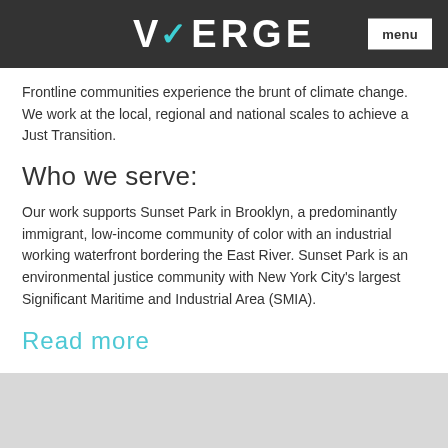VERGE | menu
Frontline communities experience the brunt of climate change. We work at the local, regional and national scales to achieve a Just Transition.
Who we serve:
Our work supports Sunset Park in Brooklyn, a predominantly immigrant, low-income community of color with an industrial working waterfront bordering the East River. Sunset Park is an environmental justice community with New York City's largest Significant Maritime and Industrial Area (SMIA).
Read more